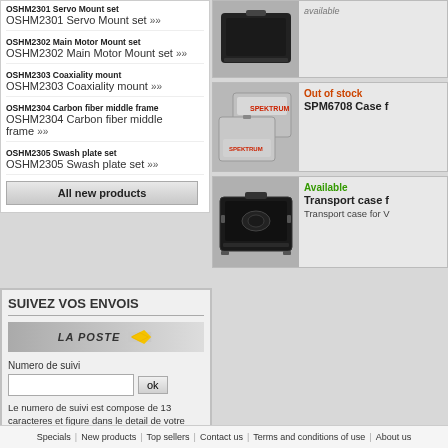OSHM2301 Servo Mount set  OSHM2301 Servo Mount set >>
OSHM2302 Main Motor Mount set  OSHM2302 Main Motor Mount set >>
OSHM2303 Coaxiality mount  OSHM2303 Coaxiality mount >>
OSHM2304 Carbon fiber middle frame  OSHM2304 Carbon fiber middle frame >>
OSHM2305 Swash plate set  OSHM2305 Swash plate set >>
All new products
SUIVEZ VOS ENVOIS
[Figure (logo): LA POSTE logo with yellow arrow]
Numero de suivi
ok
Le numero de suivi est compose de 13 caracteres et figure dans le detail de votre commande
[Figure (photo): Black transport case]
Out of stock
SPM6708 Case f
[Figure (photo): Spektrum aluminum cases]
Available
Transport case f
Transport case for V
[Figure (photo): Black transport briefcase]
Specials | New products | Top sellers | Contact us | Terms and conditions of use | About us